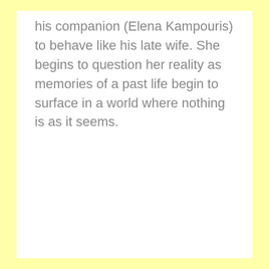his companion (Elena Kampouris) to behave like his late wife. She begins to question her reality as memories of a past life begin to surface in a world where nothing is as it seems.